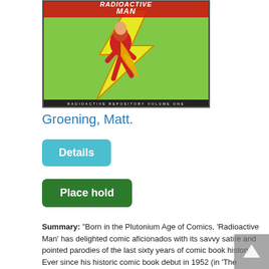[Figure (illustration): Book cover of Radioactive Man: Radioactive Repository Volume One by Matt Groening. Cover shows a superhero in red suit running, with lightning bolt and green/yellow background.]
Groening, Matt.
Details
Place hold
Summary: "Born in the Plutonium Age of Comics, 'Radioactive Man' has delighted comic aficionados with its savvy satire and pointed parodies of the last sixty years of comic book history. Ever since his historic comic book debut in 1952 (in 'The Simpsons' universe), Radioactive Man (otherwise known as layabout playboy Claude Kane III) and his faithful sidekick Fallout Boy (aka former juvenile delinquent...